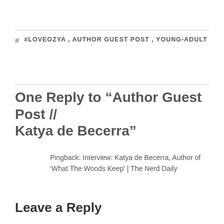#LOVEOZYA , AUTHOR GUEST POST , YOUNG-ADULT
One Reply to “Author Guest Post // Katya de Becerra”
Pingback: Interview: Katya de Becerra, Author of ‘What The Woods Keep’ | The Nerd Daily
Leave a Reply